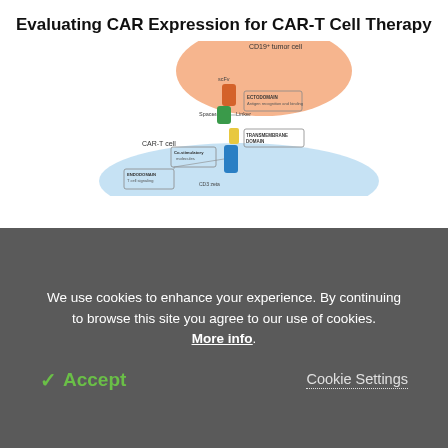Evaluating CAR Expression for CAR-T Cell Therapy
[Figure (illustration): Diagram of CAR-T cell interacting with CD19+ tumor cell, showing components: scFv, spacer/linker, ECTODOMAIN (antigen recognition and binding), TRANSMEMBRANE DOMAIN, Co-stimulatory molecules, ENDODOMAIN (T cell signaling), and CD3 zeta.]
Evaluating CD19 CAR expression levels in clinical trial and quality checks
[Figure (illustration): Partial diagram showing circular molecular structures, partially obscured by cookie consent overlay.]
We use cookies to enhance your experience. By continuing to browse this site you agree to our use of cookies. More info.
✓ Accept
Cookie Settings